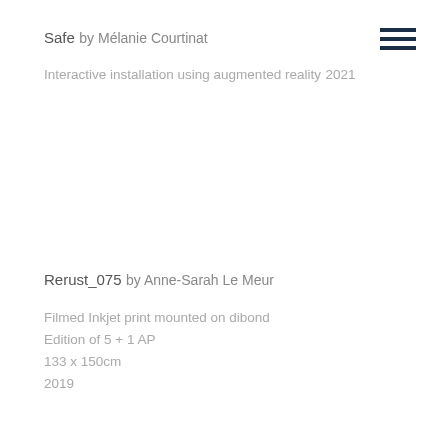Safe
by Mélanie Courtinat
Interactive installation using augmented reality
2021
Rerust_075
by Anne-Sarah Le Meur
Filmed Inkjet print mounted on dibond
Edition of 5 + 1 AP
133 x 150cm
2019